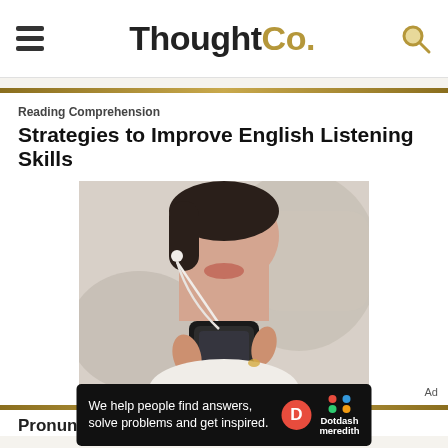ThoughtCo.
Reading Comprehension
Strategies to Improve English Listening Skills
[Figure (photo): Close-up of a young woman holding a smartphone with earbuds, listening to audio. Her face is partially visible, looking down at the phone. Background is blurred.]
Ad
We help people find answers, solve problems and get inspired.
[Figure (logo): Dotdash Meredith logo with colored dots icon and D icon on red circle background]